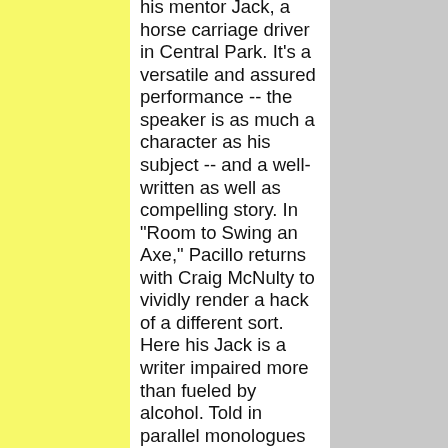his mentor Jack, a horse carriage driver in Central Park. It's a versatile and assured performance -- the speaker is as much a character as his subject -- and a well-written as well as compelling story. In "Room to Swing an Axe," Pacillo returns with Craig McNulty to vividly render a hack of a different sort. Here his Jack is a writer impaired more than fueled by alcohol. Told in parallel monologues that remind us of Conor McPherson, the two men (McNulty plays Jack's bar buddy Gaz, a salesman from New Jersey, who has developed a special